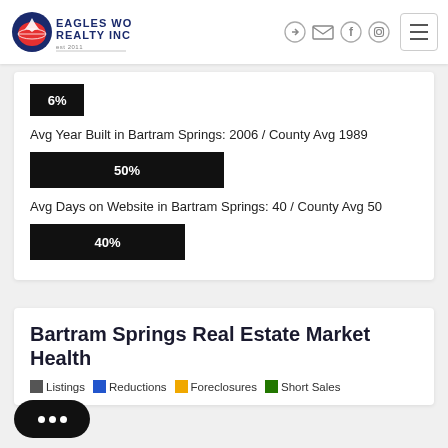[Figure (logo): Eagles World Realty Inc logo with eagle icon]
[Figure (infographic): Header navigation icons: login, mail, facebook, instagram, hamburger menu]
[Figure (bar-chart): 6% bar]
Avg Year Built in Bartram Springs: 2006 / County Avg 1989
[Figure (bar-chart): 50% bar]
Avg Days on Website in Bartram Springs: 40 / County Avg 50
[Figure (bar-chart): 40% bar]
Bartram Springs Real Estate Market Health
Listings  Reductions  Foreclosures  Short Sales